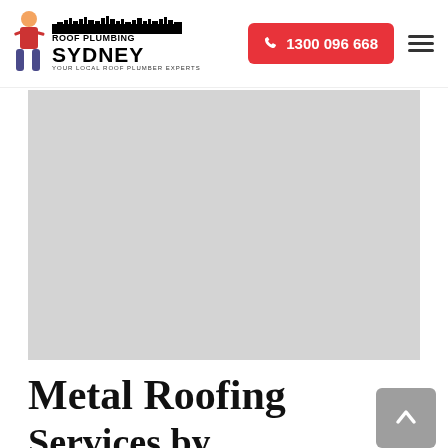[Figure (logo): Roof Plumbing Sydney logo with cartoon man on ladder and Sydney skyline silhouette]
1300 096 668
[Figure (photo): Large grey placeholder hero image area]
Metal Roofing Services by...
[Figure (other): Back to top arrow button]